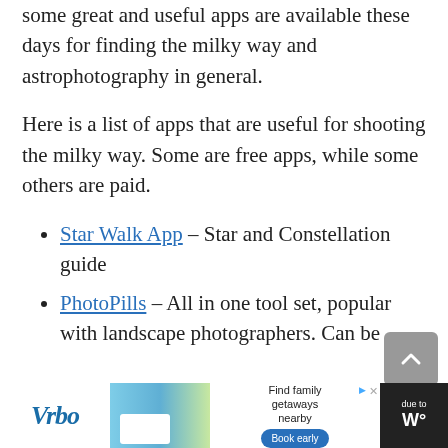some great and useful apps are available these days for finding the milky way and astrophotography in general.
Here is a list of apps that are useful for shooting the milky way. Some are free apps, while some others are paid.
Star Walk App – Star and Constellation guide
PhotoPills – All in one tool set, popular with landscape photographers. Can be
[Figure (other): Advertisement banner for Vrbo - Find family getaways nearby, with Book early button]